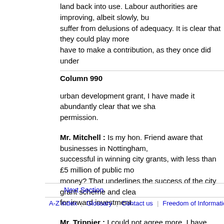land back into use. Labour authorities are improving, albeit slowly, but suffer from delusions of adequacy. It is clear that they could play more have to make a contribution, as they once did under
Column 990
urban development grant, I have made it abundantly clear that we sha permission.
Mr. Mitchell : Is my hon. Friend aware that businesses in Nottingham, successful in winning city grants, with less than £5 million of public mo money? That underlines the success of the city grant scheme and clea for inward investment.
Mr. Trippier : I could not agree more. I have been overwhelmed by the sector in Nottingham and the surrounding area. That success should b successful in securing city grants, and have not recognised that, as the Environment, bureaucracy has been cut to a minimum.
Urban Development
9. Mr. O'Brien : To ask the Secretary of State for the Environment how jointly with his Department ; what matters were discussed ; and if he w
Next Section | A-Z index | Glossary | Contact us | Freedom of Information | Jobs | Using this w